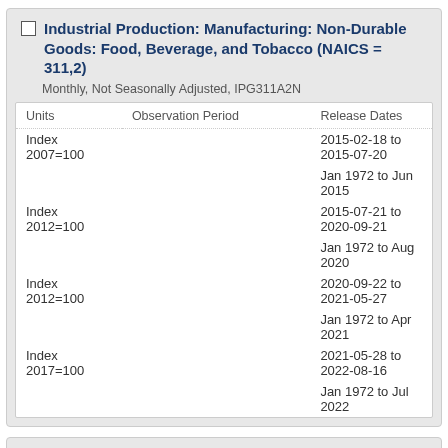Industrial Production: Manufacturing: Non-Durable Goods: Food, Beverage, and Tobacco (NAICS = 311,2)
Monthly, Not Seasonally Adjusted, IPG311A2N
| Units | Observation Period | Release Dates |
| --- | --- | --- |
| Index 2007=100 |  | 2015-02-18 to 2015-07-20 |
|  |  | Jan 1972 to Jun 2015 |
| Index 2012=100 |  | 2015-07-21 to 2020-09-21 |
|  |  | Jan 1972 to Aug 2020 |
| Index 2012=100 |  | 2020-09-22 to 2021-05-27 |
|  |  | Jan 1972 to Apr 2021 |
| Index 2017=100 |  | 2021-05-28 to 2022-08-16 |
|  |  | Jan 1972 to Jul 2022 |
Industrial Production: Manufacturing: Non-Durable Goods: Food, Beverage, and Tobacco (NAICS = 311,2)
Quarterly, Not Seasonally Adjusted, IPG311A2NQ